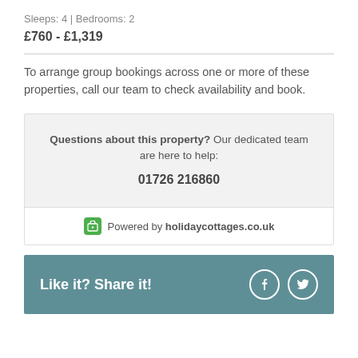Sleeps: 4 | Bedrooms: 2
£760 - £1,319
To arrange group bookings across one or more of these properties, call our team to check availability and book.
Questions about this property? Our dedicated team are here to help: 01726 216860
Powered by holidaycottages.co.uk
Like it? Share it!